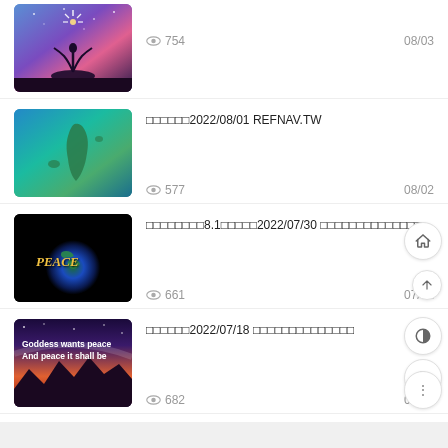[Figure (screenshot): Mobile app list showing blog posts with thumbnails, view counts, and dates]
754  08/03
□□□□□□2022/08/01 REFNAV.TW  577  08/02
□□□□□□□□8.1□□□□□2022/07/30 □□□□□□□□□□□□□□  661  07/31
□□□□□□2022/07/18 □□□□□□□□□□□□□□  682  07/19
Copyright ©  □□□□  □□□□.